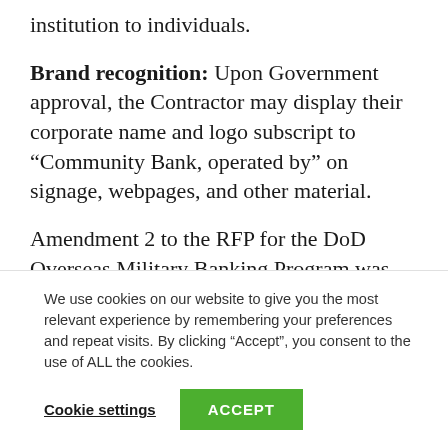institution to individuals.
Brand recognition:  Upon Government approval, the Contractor may display their corporate name and logo subscript to “Community Bank, operated by” on signage, webpages, and other material.
Amendment 2 to the RFP for the DoD Overseas Military Banking Program was published this afternoon.
We use cookies on our website to give you the most relevant experience by remembering your preferences and repeat visits. By clicking “Accept”, you consent to the use of ALL the cookies.
Cookie settings
ACCEPT